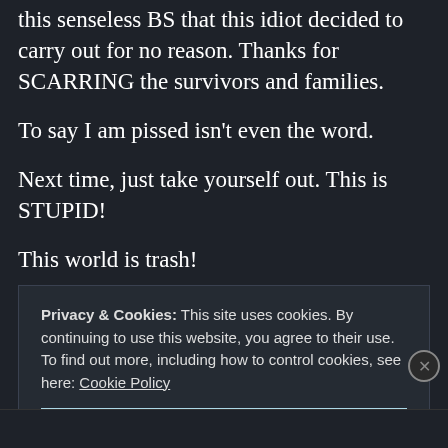this senseless BS that this idiot decided to carry out for no reason. Thanks for SCARRING the survivors and families.
To say I am pissed isn't even the word.
Next time, just take yourself out. This is STUPID!
This world is trash!
Privacy & Cookies: This site uses cookies. By continuing to use this website, you agree to their use. To find out more, including how to control cookies, see here: Cookie Policy
Close and accept